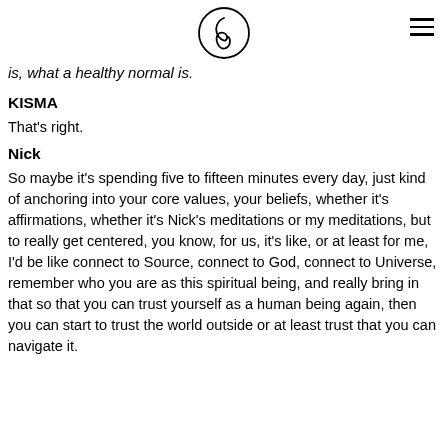[Logo: circular design with stylized figure] [hamburger menu icon]
is, what a healthy normal is.
KISMA
That's right.
Nick
So maybe it's spending five to fifteen minutes every day, just kind of anchoring into your core values, your beliefs, whether it's affirmations, whether it's Nick's meditations or my meditations, but to really get centered, you know, for us, it's like, or at least for me, I'd be like connect to Source, connect to God, connect to Universe, remember who you are as this spiritual being, and really bring in that so that you can trust yourself as a human being again, then you can start to trust the world outside or at least trust that you can navigate it.